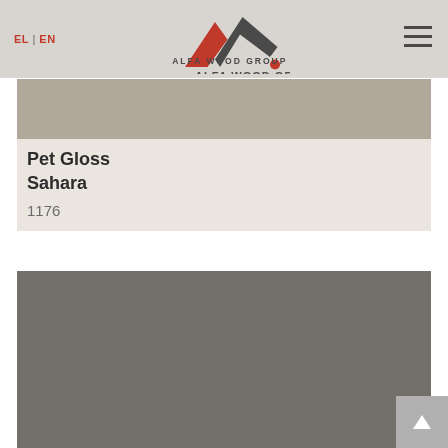EL | EN — ALFA WOOD GROUP
[Figure (other): Color swatch — warm taupe/greige color block for Pet Gloss Sahara 1176]
Pet Gloss Sahara
1176
[Figure (other): Color swatch — dark grey color block for a second product]